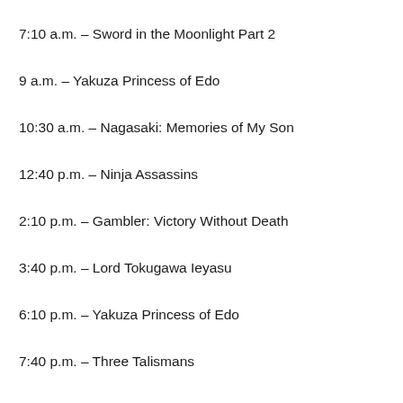7:10 a.m. – Sword in the Moonlight Part 2
9 a.m. – Yakuza Princess of Edo
10:30 a.m. – Nagasaki: Memories of My Son
12:40 p.m. – Ninja Assassins
2:10 p.m. – Gambler: Victory Without Death
3:40 p.m. – Lord Tokugawa Ieyasu
6:10 p.m. – Yakuza Princess of Edo
7:40 p.m. – Three Talismans